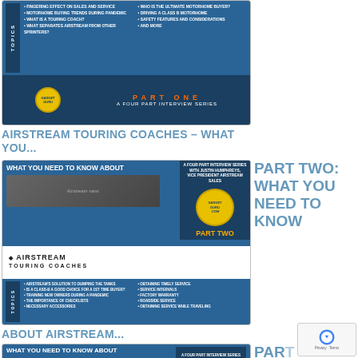[Figure (screenshot): Airstream Touring Coaches Part One interview series thumbnail with topics list banner]
AIRSTREAM TOURING COACHES – WHAT YOU...
[Figure (screenshot): Airstream Touring Coaches Part Two interview series thumbnail with topics list including service and accessories]
PART TWO: WHAT YOU NEED TO KNOW
ABOUT AIRSTREAM...
[Figure (screenshot): Airstream Touring Coaches Part Three (partially visible) interview series thumbnail]